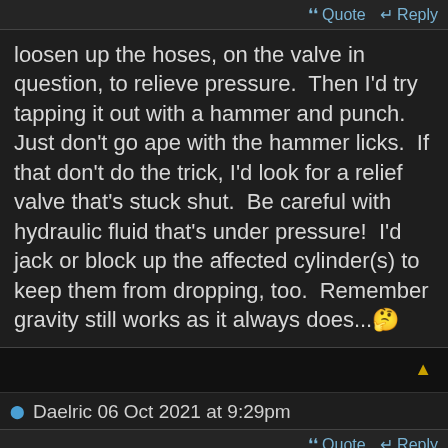Quote  Reply
loosen up the hoses, on the valve in question, to relieve pressure.  Then I'd try tapping it out with a hammer and punch. Just don't go ape with the hammer licks.  If that don't do the trick, I'd look for a relief valve that's stuck shut.  Be careful with hydraulic fluid that's under pressure!  I'd jack or block up the affected cylinder(s) to keep them from dropping, too.  Remember gravity still works as it always does...🤔
Daelric 06 Oct 2021 at 9:29pm
Quote  Reply
I should have mentioned in my original post, is there a good way to access this control valve block